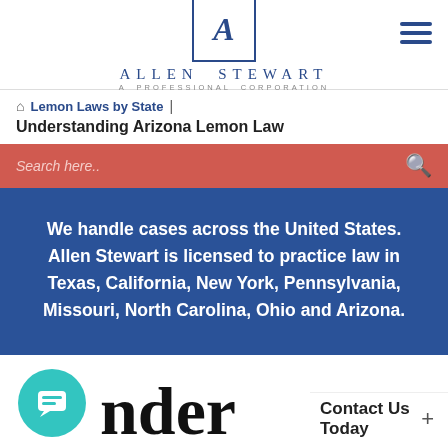[Figure (logo): Allen Stewart Professional Corporation logo — blue square border with stylized A/S letter mark, firm name in spaced caps below]
Lemon Laws by State | Understanding Arizona Lemon Law
Search here..
We handle cases across the United States. Allen Stewart is licensed to practice law in Texas, California, New York, Pennsylvania, Missouri, North Carolina, Ohio and Arizona.
nder
Contact Us Today